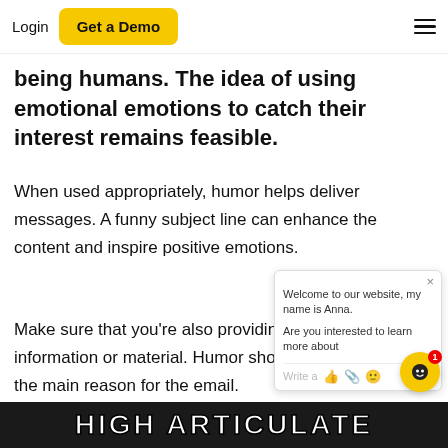Login  Get a Demo
being humans. The idea of using emotional emotions to catch their interest remains feasible.
When used appropriately, humor helps deliver messages. A funny subject line can enhance the content and inspire positive emotions.
Make sure that you're also providing help information or material. Humor should be and not the main reason for the email.
3. Be Articulate
[Figure (screenshot): Bottom image strip showing text 'HIGH ARTICULATE' in meme-style bold white letters on dark background]